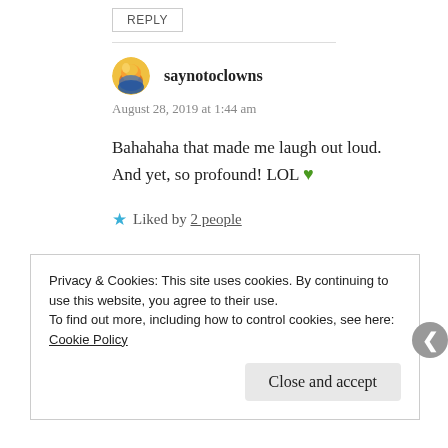REPLY
saynotoclowns
August 28, 2019 at 1:44 am
Bahahaha that made me laugh out loud.
And yet, so profound! LOL 💚
★ Liked by 2 people
Privacy & Cookies: This site uses cookies. By continuing to use this website, you agree to their use.
To find out more, including how to control cookies, see here: Cookie Policy
Close and accept